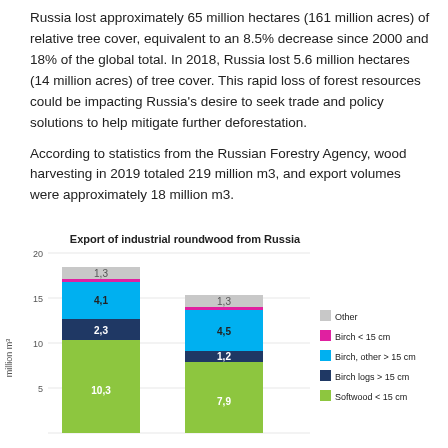Russia lost approximately 65 million hectares (161 million acres) of relative tree cover, equivalent to an 8.5% decrease since 2000 and 18% of the global total. In 2018, Russia lost 5.6 million hectares (14 million acres) of tree cover. This rapid loss of forest resources could be impacting Russia's desire to seek trade and policy solutions to help mitigate further deforestation.
According to statistics from the Russian Forestry Agency, wood harvesting in 2019 totaled 219 million m3, and export volumes were approximately 18 million m3.
[Figure (stacked-bar-chart): Export of industrial roundwood from Russia]